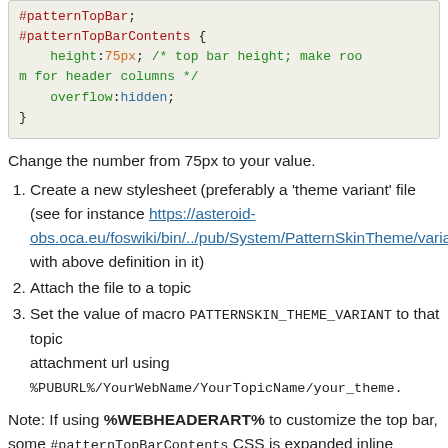[Figure (screenshot): Code block showing CSS for #patternTopBarContents with height:75px and overflow:hidden]
Change the number from 75px to your value.
1. Create a new stylesheet (preferably a 'theme variant' file (see for instance https://asteroid-obs.oca.eu/foswiki/bin/../pub/System/PatternSkinTheme/varia with above definition in it)
2. Attach the file to a topic
3. Set the value of macro PATTERNSKIN_THEME_VARIANT to that topic attachment url using %PUBURL%/YourWebName/YourTopicName/your_theme.
Note: If using %WEBHEADERART% to customize the top bar, some #patternTopBarContents CSS is expanded inline